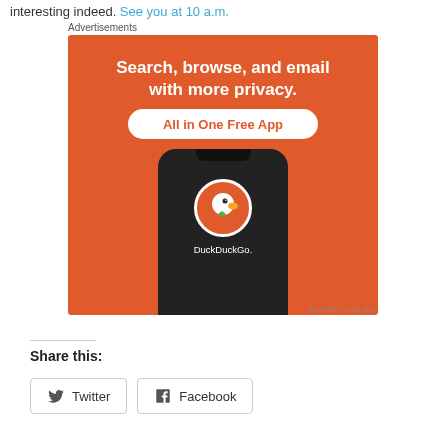interesting indeed. See you at 10 a.m.
Advertisements
[Figure (illustration): DuckDuckGo advertisement showing a smartphone with the DuckDuckGo logo. Text reads: 'Search, browse, and email with more privacy. All in One Free App'. Orange background with dark phone mockup displaying the DuckDuckGo duck logo.]
REPORT THIS AD
Share this:
Twitter
Facebook